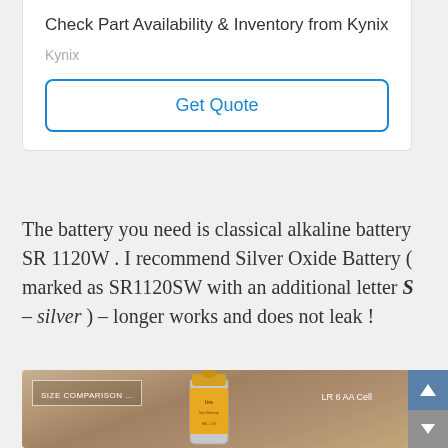Check Part Availability & Inventory from Kynix
Kynix
Get Quote
The battery you need is classical alkaline battery SR 1120W . I recommend Silver Oxide Battery ( marked as SR1120SW with an additional letter S – silver ) – longer works and does not leak !
[Figure (photo): Photo of an AA alkaline battery (LR 6 AA Cell) standing upright on a wooden surface, with a SIZE COMPARISON label overlay on the left side. The battery has a gold top and silver/white body with colorful label wrapping.]